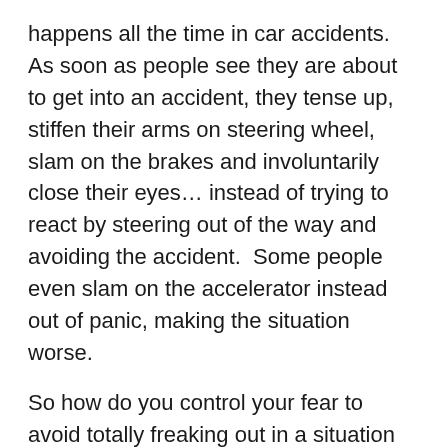happens all the time in car accidents.  As soon as people see they are about to get into an accident, they tense up, stiffen their arms on steering wheel, slam on the brakes and involuntarily close their eyes… instead of trying to react by steering out of the way and avoiding the accident.  Some people even slam on the accelerator instead out of panic, making the situation worse.
So how do you control your fear to avoid totally freaking out in a situation like a gun in your face?  First ask yourself what causes the fear.  The fear is caused by not knowing what to do, not knowing what your options are… basically, by not being prepared.   Having a plan and training that plan will lessen that paralyzing fear.
For example, if you have never swum in your life and I drop you in the middle of a lake, you will panic and drown.